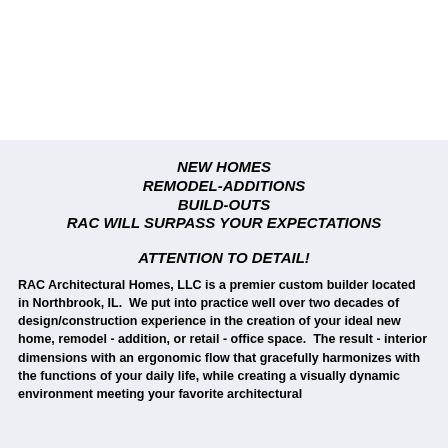NEW HOMES
REMODEL-ADDITIONS
BUILD-OUTS
RAC WILL SURPASS YOUR EXPECTATIONS
ATTENTION TO DETAIL!
RAC Architectural Homes, LLC is a premier custom builder located in Northbrook, IL.  We put into practice well over two decades of design/construction experience in the creation of your ideal new home, remodel - addition, or retail - office space.  The result - interior dimensions with an ergonomic flow that gracefully harmonizes with the functions of your daily life, while creating a visually dynamic environment meeting your favorite architectural